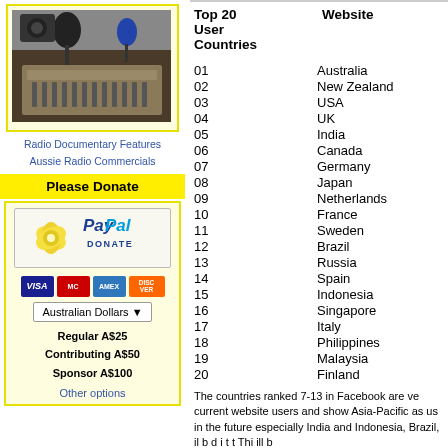[Figure (photo): Radio studio with microphones and mixing board]
Radio Documentary Features
Aussie Radio Commercials
Please Donate
[Figure (logo): PayPal Donate button with flower logo]
[Figure (logo): Credit card icons: VISA, Mastercard, American Express, Discover]
Australian Dollars
Regular A$25
Contributing A$50
Sponsor A$100
Other options
| Top 20 User Countries | Website |
| --- | --- |
| 01 | Australia |
| 02 | New Zealand |
| 03 | USA |
| 04 | UK |
| 05 | India |
| 06 | Canada |
| 07 | Germany |
| 08 | Japan |
| 09 | Netherlands |
| 10 | France |
| 11 | Sweden |
| 12 | Brazil |
| 13 | Russia |
| 14 | Spain |
| 15 | Indonesia |
| 16 | Singapore |
| 17 | Italy |
| 18 | Philippines |
| 19 | Malaysia |
| 20 | Finland |
The countries ranked 7-13 in Facebook are ve current website users and show Asia-Pacific as us in the future especially India and Indonesia, Brazil, il b d i t t Thi ill b